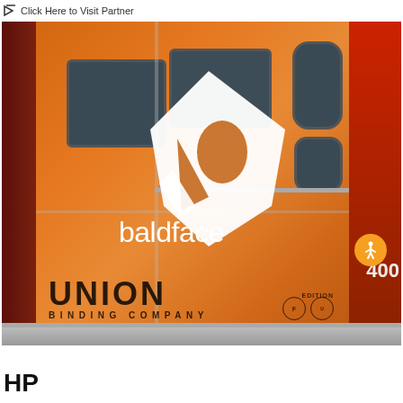Click Here to Visit Partner
[Figure (photo): Orange Union Binding Company vehicle/truck with Baldface logo overlay. The truck has dark windows, Union Binding Company branding, and a red vehicle visible on the right side. An orange accessibility button is visible in the lower right portion of the image.]
HP